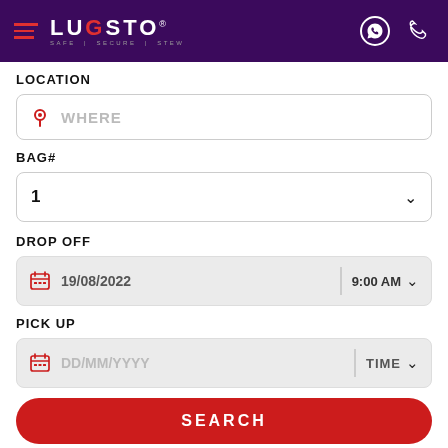LUGSTO — SAFE | SECURE | STEW
LOCATION
WHERE (location input placeholder)
BAG#
1 (dropdown, selected value)
DROP OFF
19/08/2022   9:00 AM (dropdown)
PICK UP
DD/MM/YYYY   TIME (dropdown)
SEARCH